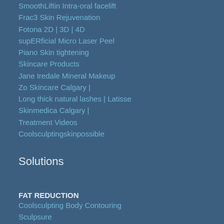SmoothLiftin Intra-oral facelift
Frac3 Skin Rejuvenation
Fotona 2D | 3D | 4D
supERficial Micro Laser Peel
Piano Skin tightening
Skincare Products
Jane Iredale Mineral Makeup
Zo Skincare Calgary |
Long thick natural lashes | Latisse
Skinmedica Calgary |
Treatment Videos
Coolsculptingskinpossible
Solutions
FAT REDUCTION
Coolsculpting Body Contouring
Sculpsure
Emsculpt